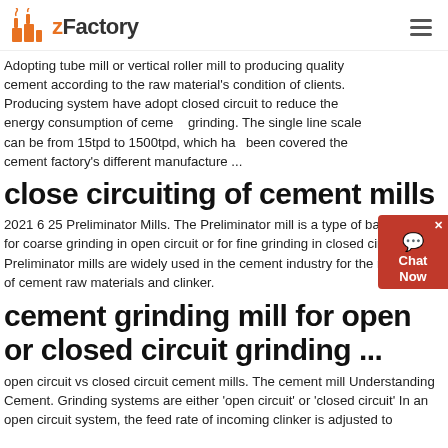zFactory
Adopting tube mill or vertical roller mill to producing quality cement according to the raw material's condition of clients. Producing system have adopt closed circuit to reduce the energy consumption of cement grinding. The single line scale can be from 15tpd to 1500tpd, which has been covered the cement factory's different manufacture ...
close circuiting of cement mills
2021 6 25 Preliminator Mills. The Preliminator mill is a type of ball mill used for coarse grinding in open circuit or for fine grinding in closed circuit. Preliminator mills are widely used in the cement industry for the reduction of cement raw materials and clinker.
cement grinding mill for open or closed circuit grinding ...
open circuit vs closed circuit cement mills. The cement mill Understanding Cement. Grinding systems are either 'open circuit' or 'closed circuit' In an open circuit system, the feed rate of incoming clinker is adjusted to